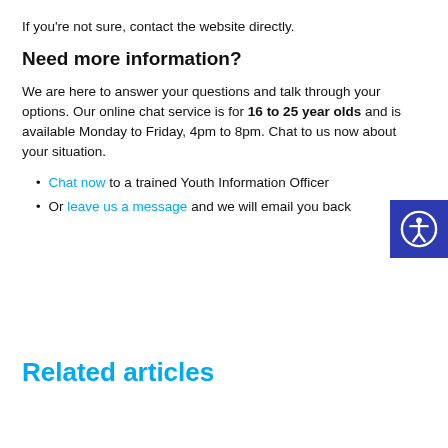If you're not sure, contact the website directly.
Need more information?
We are here to answer your questions and talk through your options. Our online chat service is for 16 to 25 year olds and is available Monday to Friday, 4pm to 8pm. Chat to us now about your situation.
Chat now to a trained Youth Information Officer
Or leave us a message and we will email you back
Related articles